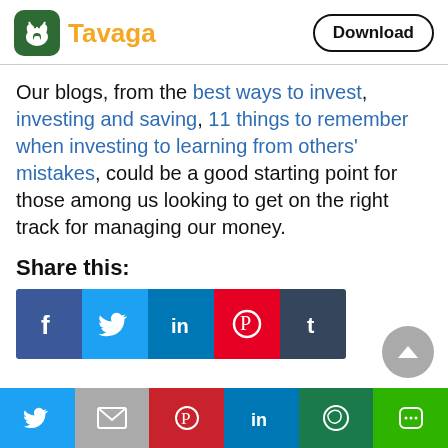Tavaga | Download
Our blogs, from the best ways to invest, investing and saving, 11 things to remember when investing to learning from others' mistakes, could be a good starting point for those among us looking to get on the right track for managing our money.
Share this:
[Figure (infographic): Social share buttons row: Facebook, Twitter, LinkedIn, Pinterest, Tumblr icons]
[Figure (infographic): Bottom bar with social share icons: Twitter, Gmail/Mail, Pinterest, LinkedIn, WhatsApp, Line]